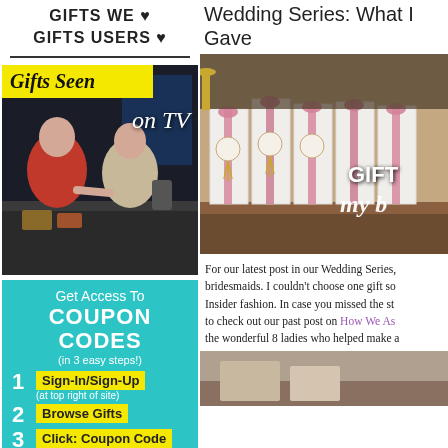GIFTS WE ♥
GIFTS USERS ♥
[Figure (photo): Gifts Seen on TV banner with two women shaking hands at a product display table]
[Figure (infographic): Get Access To COUPON CODES in 3 easy steps: 1 Sign-In/Sign-Up (at top right of site), 2 Browse Gifts, 3 Click: Coupon Code]
Wedding Series: What I Gave
[Figure (photo): White gift boxes with pink ribbons and decorative tags arranged on a table, with overlaid text 'GIFT my b']
For our latest post in our Wedding Series, bridesmaids. I couldn't choose one gift so Insider fashion. In case you missed the st to check out our past post on How We As the wonderful 8 ladies who helped make a
[Figure (photo): Partial view of a wooden surface or gift display, bottom right of page]